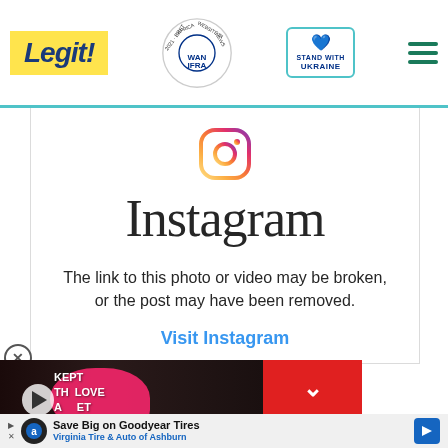Legit | WAN IFRA 2021 Best News Website in Africa | Stand with Ukraine
[Figure (logo): Instagram camera icon (gradient pink/orange/purple outline)]
Instagram
The link to this photo or video may be broken, or the post may have been removed.
Visit Instagram
[Figure (screenshot): Video thumbnail showing two people with text overlay: KEPT TH LOVE A ET (love secret), with play button and red collapse arrow]
Save Big on Goodyear Tires Virginia Tire & Auto of Ashburn